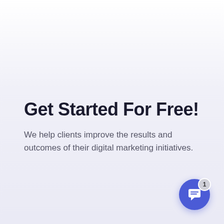Get Started For Free!
We help clients improve the results and outcomes of their digital marketing initiatives.
[Figure (illustration): Chat widget button in blue circle with speech bubble icon and notification badge showing '1']